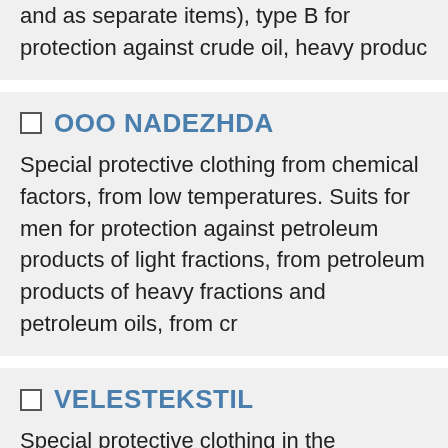and as separate items), type B for protection against crude oil, heavy produc
OOO NADEZHDA — Special protective clothing from chemical factors, from low temperatures. Suits for men for protection against petroleum products of light fractions, from petroleum products of heavy fractions and petroleum oils, from cr
VELESTEKSTIL — Special protective clothing in the corporate style of OJSC NK ROSNEFT . Summer suits for women for protection against oil products light fractions of the 1st class, from petroleum products of heavy fractions, petroleu